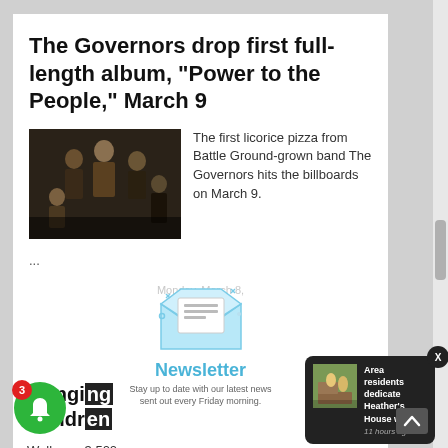The Governors drop first full-length album, “Power to the People,” March 9
[Figure (photo): Band photo of The Governors, multiple members posing together in dark clothing against a stone/brick wall background]
The first licorice pizza from Battle Ground-grown band The Governors hits the billboards on March 9.
...
[Figure (illustration): Newsletter envelope icon with light blue envelope open and paper inside, with decorative sparkle elements]
Newsletter
Stay up to date with our latest news sent out every Friday morning.
Bringing Children...
Well over 3,500 children have been
[Figure (photo): Notification popup showing area residents dedicate Heather's House with a small thumbnail photo]
Area residents dedicate Heather’s House with
11 hours ago